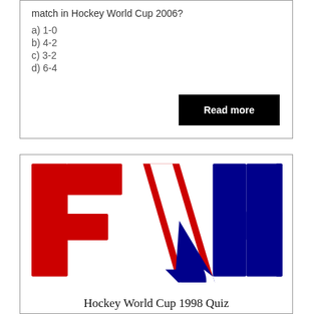match in Hockey World Cup 2006?
a) 1-0
b) 4-2
c) 3-2
d) 6-4
Read more
[Figure (logo): FIH (International Hockey Federation) logo with large red letters F and I, a stylized red/blue hockey stick figure in the center, and a blue H. White background.]
Hockey World Cup 1998 Quiz